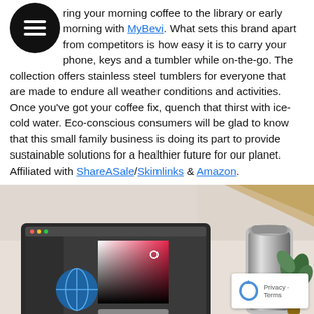Bring your morning coffee to the library or early morning with MyBevi. What sets this brand apart from competitors is how easy it is to carry your phone, keys and a tumbler while on-the-go. The collection offers stainless steel tumblers for everyone that are made to endure all weather conditions and activities. Once you've got your coffee fix, quench that thirst with ice-cold water. Eco-conscious consumers will be glad to know that this small family business is doing its part to provide sustainable solutions for a healthier future for our planet. Affiliated with ShareASale/Skimlinks & Amazon.
[Figure (photo): Photo of a stainless steel tumbler on a shelf next to a laptop showing a color picker and a plant, on a light beige surface]